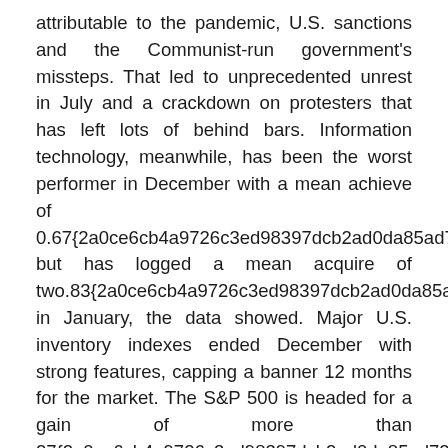attributable to the pandemic, U.S. sanctions and the Communist-run government's missteps. That led to unprecedented unrest in July and a crackdown on protesters that has left lots of behind bars. Information technology, meanwhile, has been the worst performer in December with a mean achieve of 0.67{2a0ce6cb4a9726c3ed98397dcb2ad0da85ad726 but has logged a mean acquire of two.83{2a0ce6cb4a9726c3ed98397dcb2ad0da85ad in January, the data showed. Major U.S. inventory indexes ended December with strong features, capping a banner 12 months for the market. The S&P 500 is headed for a gain of more than 27{2a0ce6cb4a9726c3ed98397dcb2ad0da85ad7261 for 2021, one of the best efficiency since 2019, one other standout yr.